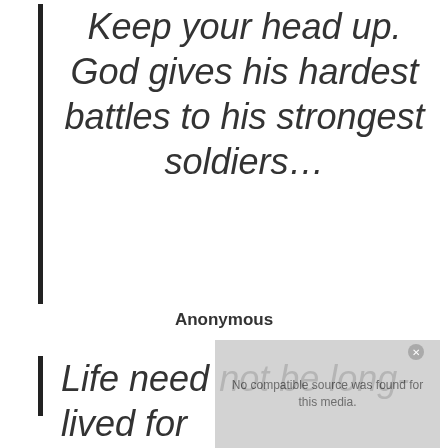Keep your head up. God gives his hardest battles to his strongest soldiers…
Anonymous
[Figure (screenshot): Video player overlay showing 'No compatible source was found for this media.' with background showing partial text 'TOO DUMB TO DIY']
Life need not be long-lived for